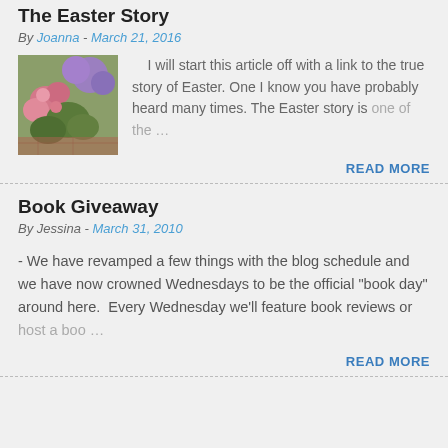The Easter Story
By Joanna - March 21, 2016
[Figure (photo): Photograph of pink and purple flowers]
I will start this article off with a link to the true story of Easter. One I know you have probably heard many times. The Easter story is one of the …
READ MORE
Book Giveaway
By Jessina - March 31, 2010
- We have revamped a few things with the blog schedule and we have now crowned Wednesdays to be the official "book day" around here.  Every Wednesday we'll feature book reviews or host a boo …
READ MORE